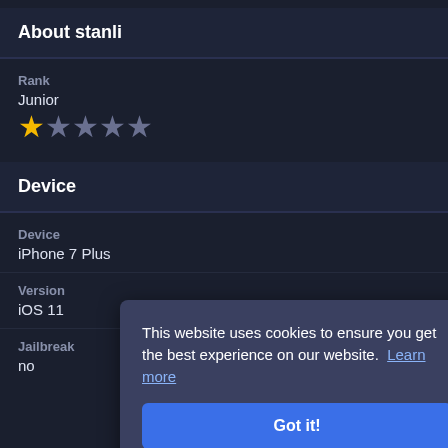About stanli
Rank
Junior
[Figure (other): Star rating: 1 gold star and 4 grey stars]
Device
Device
iPhone 7 Plus
Version
iOS 11
Jailbreak
no
This website uses cookies to ensure you get the best experience on our website.  Learn more
Got it!